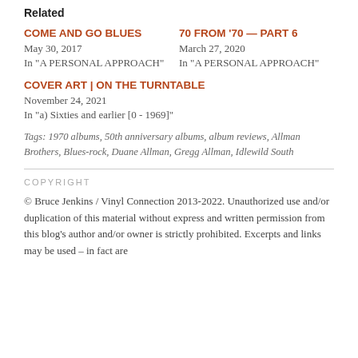Related
COME AND GO BLUES
May 30, 2017
In "A PERSONAL APPROACH"
70 FROM '70 — PART 6
March 27, 2020
In "A PERSONAL APPROACH"
COVER ART | ON THE TURNTABLE
November 24, 2021
In "a) Sixties and earlier [0 - 1969]"
Tags: 1970 albums, 50th anniversary albums, album reviews, Allman Brothers, Blues-rock, Duane Allman, Gregg Allman, Idlewild South
COPYRIGHT
© Bruce Jenkins / Vinyl Connection 2013-2022. Unauthorized use and/or duplication of this material without express and written permission from this blog's author and/or owner is strictly prohibited. Excerpts and links may be used – in fact are